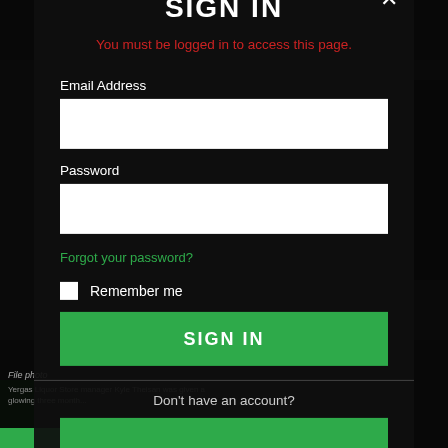[Figure (screenshot): Dark background showing a blurred/dim photo of what appears to be a liquor store interior, heavily darkened by an overlay]
SIGN IN
You must be logged in to access this page.
Email Address
Password
Forgot your password?
Remember me
SIGN IN
Don't have an account?
File photo
Yergas Liquor Store manager Kyle Theisan was given a glowing three month...